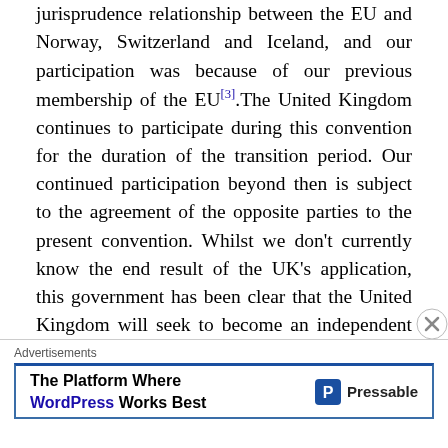jurisprudence relationship between the EU and Norway, Switzerland and Iceland, and our participation was because of our previous membership of the EU[3].The United Kingdom continues to participate during this convention for the duration of the transition period. Our continued participation beyond then is subject to the agreement of the opposite parties to the present convention. Whilst we don't currently know the end result of the UK's application, this government has been clear that the United Kingdom will seek to become an independent party to the current important convention in our title as soon as possible after the top of the
[Figure (other): Advertisement banner: 'The Platform Where WordPress Works Best' by Pressable, with a close button overlay]